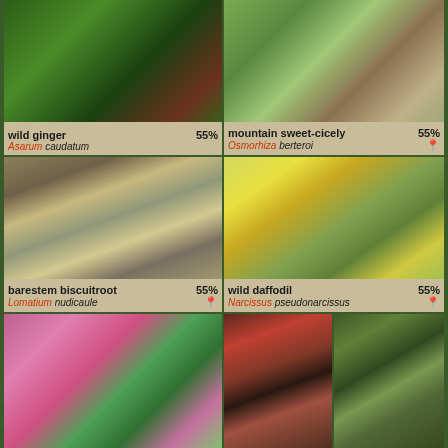[Figure (photo): Wild ginger plant with large heart-shaped green leaves and dark reddish-purple flower]
wild ginger 55% Asarum caudatum
[Figure (photo): Mountain sweet-cicely plant showing serrated leaves and dried seed stalks]
mountain sweet-cicely 55% Osmorhiza berteroi
[Figure (photo): Barestem biscuitroot plant with yellow flowers growing among rocks]
barestem biscuitroot 55% Lomatium nudicaule
[Figure (photo): Wild daffodil with yellow petals and orange center, multiple blooms]
wild daffodil 55% Narcissus pseudonarcissus
[Figure (photo): Pink flowering plant with multiple blossoms and green leaves]
[Figure (photo): Dark red and green leafy plant]
[Figure (photo): Green bushy plant with fine foliage]